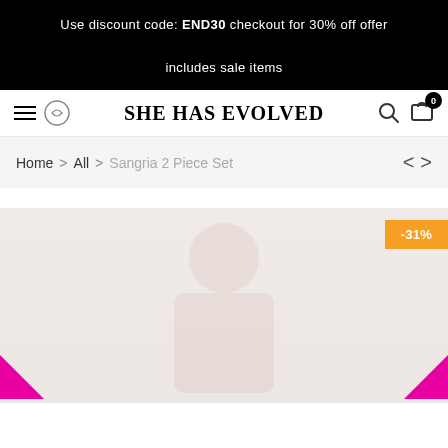Use discount code: END30 checkout for 30% off offer includes sale items
SHE HAS EVOLVED
Home > All > Sangria 2 Piece Set
[Figure (photo): Product image area showing Sangria 2 Piece Set on a light pink/cream background, partially visible, with a -31% orange discount badge in the top right and two hot-pink arrow/chevron icons visible at the bottom corners.]